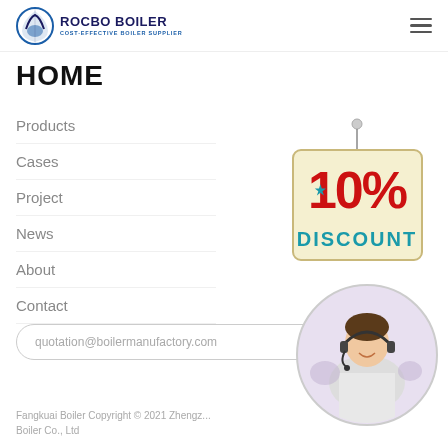ROCBO BOILER - COST-EFFECTIVE BOILER SUPPLIER
HOME
Products
Cases
Project
News
About
Contact
[Figure (illustration): 10% DISCOUNT hanging sign illustration]
quotation@boilermanufactory.com
[Figure (photo): Customer service representative wearing headset, smiling]
Fangkuai Boiler Copyright © 2021 Zhengz... Boiler Co., Ltd